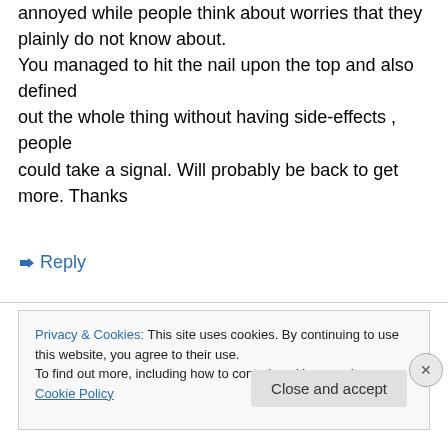annoyed while people think about worries that they plainly do not know about. You managed to hit the nail upon the top and also defined out the whole thing without having side-effects , people could take a signal. Will probably be back to get more. Thanks
↳ Reply
Privacy & Cookies: This site uses cookies. By continuing to use this website, you agree to their use. To find out more, including how to control cookies, see here: Cookie Policy
Close and accept